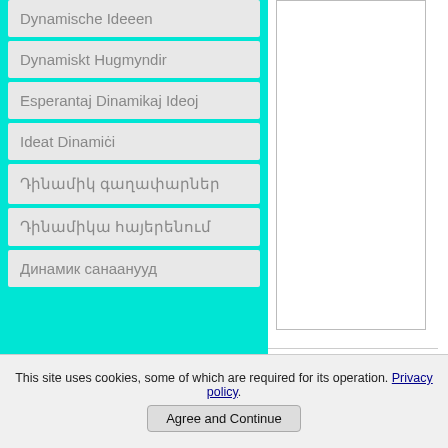Dynamische Ideeen
Dynamisktо Hugmyndir
Esperantaj Dinamikaj Ideoj
Ideat Dinamiċi
Դինամիկ գաղափարներ
Դինամիկա հայերենում
Динамик санаанууд
CHANGING SYSTEMS
This site uses cookies, some of which are required for its operation. Privacy policy.
Agree and Continue